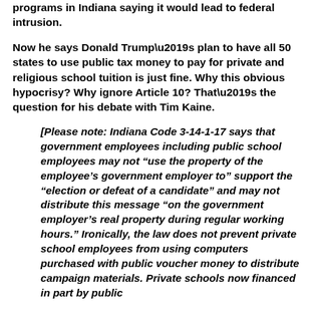programs in Indiana saying it would lead to federal intrusion.
Now he says Donald Trump’s plan to have all 50 states to use public tax money to pay for private and religious school tuition is just fine. Why this obvious hypocrisy? Why ignore Article 10? That’s the question for his debate with Tim Kaine.
[Please note: Indiana Code 3-14-1-17 says that government employees including public school employees may not “use the property of the employee’s government employer to” support the “election or defeat of a candidate” and may not distribute this message “on the government employer’s real property during regular working hours.” Ironically, the law does not prevent private school employees from using computers purchased with public voucher money to distribute campaign materials. Private schools now financed in part by public